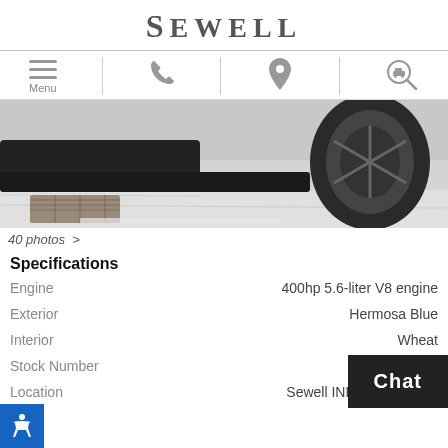SEWELL
[Figure (screenshot): Navigation bar with menu, phone, location pin, and search icons]
[Figure (photo): Partial view of a dark-colored vehicle low front end and wheel on a concrete surface]
40 photos >
Specifications
| Spec | Value |
| --- | --- |
| Engine | 400hp 5.6-liter V8 engine |
| Exterior | Hermosa Blue |
| Interior | Wheat |
| Stock Number | 5144775 |
| Location | Sewell INFINITI of North |
Chat